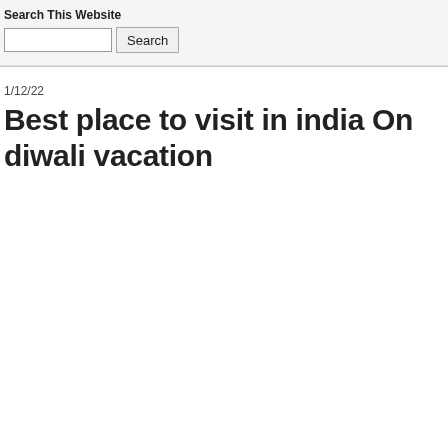Search This Website
1/12/22
Best place to visit in india On diwali vacation